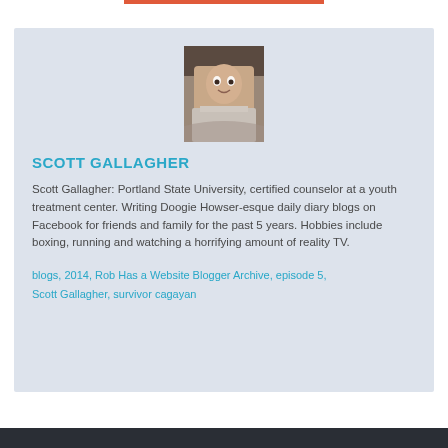[Figure (photo): Profile photo of Scott Gallagher, a man smiling at the camera]
SCOTT GALLAGHER
Scott Gallagher: Portland State University, certified counselor at a youth treatment center. Writing Doogie Howser-esque daily diary blogs on Facebook for friends and family for the past 5 years. Hobbies include boxing, running and watching a horrifying amount of reality TV.
blogs, 2014, Rob Has a Website Blogger Archive, episode 5, Scott Gallagher, survivor cagayan